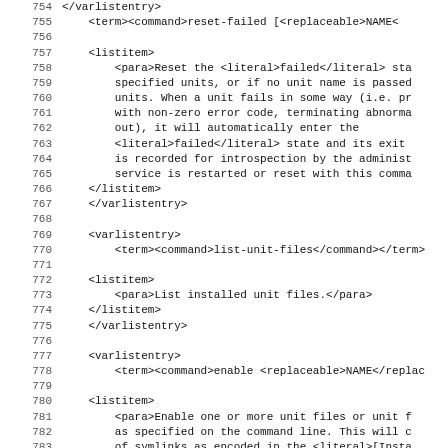754  </varlistentry>
755      <term><command>reset-failed [<replaceable>NAME<
756
757      <listitem>
758          <para>Reset the <literal>failed</literal> sta
759          specified units, or if no unit name is passed
760          units. When a unit fails in some way (i.e. pr
761          with non-zero error code, terminating abnorma
762          out), it will automatically enter the
763          <literal>failed</literal> state and its exit
764          is recorded for introspection by the administ
765          service is restarted or reset with this comma
766      </listitem>
767      </varlistentry>
768
769      <varlistentry>
770          <term><command>list-unit-files</command></term>
771
772      <listitem>
773          <para>List installed unit files.</para>
774      </listitem>
775      </varlistentry>
776
777      <varlistentry>
778          <term><command>enable <replaceable>NAME</replac
779
780      <listitem>
781          <para>Enable one or more unit files or unit f
782          as specified on the command line. This will c
783          of symlinks as encoded in the <literal>[Insta
784          sections of the unit files. After the symlink
785          created, the systemd configuration is reloade
786          is equivalent to <command>daemon-reload</com